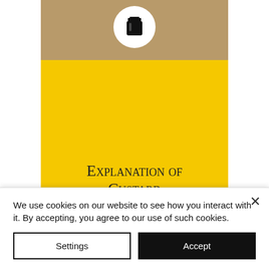[Figure (illustration): Book cover showing a jar icon in a white circle on a tan/brown background, with a yellow lower section and the title 'Explanation of Custard' in small-caps serif font.]
We use cookies on our website to see how you interact with it. By accepting, you agree to our use of such cookies.
Settings
Accept